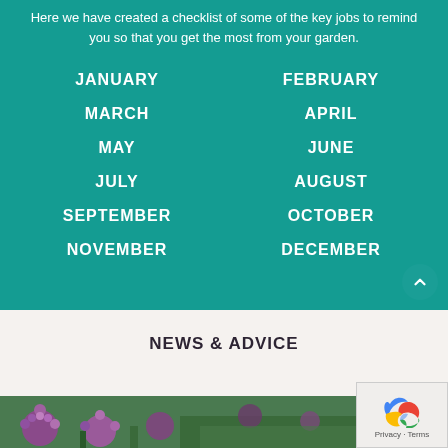Here we have created a checklist of some of the key jobs to remind you so that you get the most from your garden.
JANUARY
FEBRUARY
MARCH
APRIL
MAY
JUNE
JULY
AUGUST
SEPTEMBER
OCTOBER
NOVEMBER
DECEMBER
NEWS & ADVICE
[Figure (photo): Flower garden photo with purple allium flowers and green foliage]